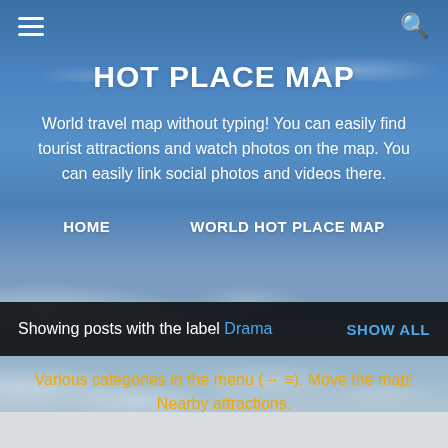[Figure (screenshot): Sky background with clouds, blue gradient, website screenshot]
HOT PLACE MAP
World travel map without typing! You can easily find tourist attractions and watch photos on the map. You can easily link social photos and videos there.
HOME
WORLD HOT PLACE MAP
Showing posts with the label Drama   SHOW ALL
Various categories in the menu (→ ≡). Move the map! Nearby attractions.